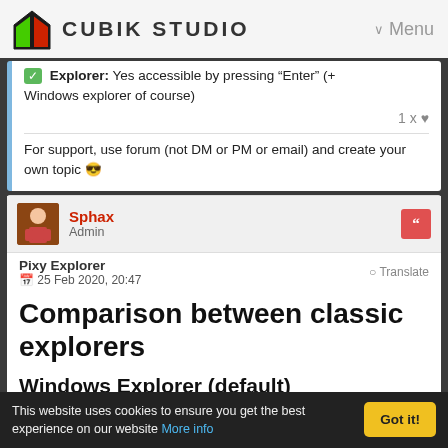CUBIK STUDIO   Menu
Explorer: Yes accessible by pressing "Enter" (+ Windows explorer of course)
1 x ♥
For support, use forum (not DM or PM or email) and create your own topic 😎
Sphax
Admin
Pixy Explorer
25 Feb 2020, 20:47
Translate
Comparison between classic explorers
Windows Explorer (default)
This website uses cookies to ensure you get the best experience on our website More info   Got it!